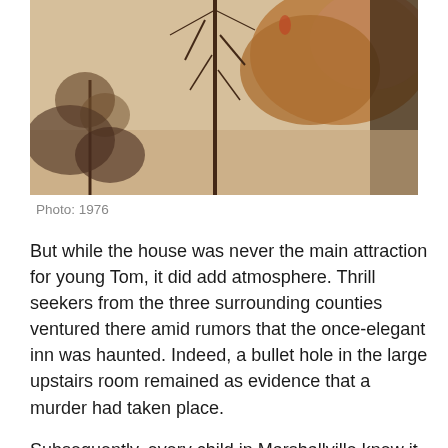[Figure (photo): Vintage aerial or landscape photograph showing trees and rocky/dusty terrain, appears to be from 1976, warm brown tones.]
Photo: 1976
But while the house was never the main attraction for young Tom, it did add atmosphere. Thrill seekers from the three surrounding counties ventured there amid rumors that the once-elegant inn was haunted. Indeed, a bullet hole in the large upstairs room remained as evidence that a murder had taken place.
Subsequently, every child in Marshallville knew it as the quintessential haunted house. Proof of the haunting, “House on Haunted Hill ain’t got nothing on Bryant Hill!” was proclaimed on the school bus in 1960. It was